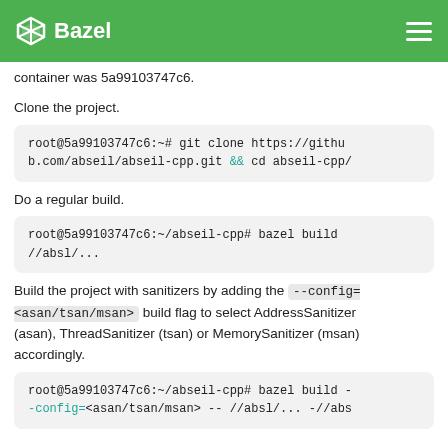Bazel
container was 5a99103747c6.
Clone the project.
root@5a99103747c6:~# git clone https://github.com/abseil/abseil-cpp.git && cd abseil-cpp/
Do a regular build.
root@5a99103747c6:~/abseil-cpp# bazel build //absl/...
Build the project with sanitizers by adding the --config=<asan/tsan/msan> build flag to select AddressSanitizer (asan), ThreadSanitizer (tsan) or MemorySanitizer (msan) accordingly.
root@5a99103747c6:~/abseil-cpp# bazel build --config=<asan/tsan/msan> -- //absl/... -//abs